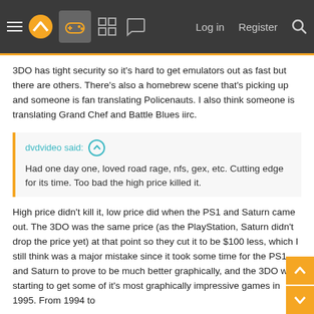Navigation bar with logo, game controller icon, menu icons, Log in, Register, Search
3DO has tight security so it's hard to get emulators out as fast but there are others. There's also a homebrew scene that's picking up and someone is fan translating Policenauts. I also think someone is translating Grand Chef and Battle Blues iirc.
dvdvideo said: ↑
Had one day one, loved road rage, nfs, gex, etc. Cutting edge for its time. Too bad the high price killed it.
High price didn't kill it, low price did when the PS1 and Saturn came out. The 3DO was the same price (as the PlayStation, Saturn didn't drop the price yet) at that point so they cut it to be $100 less, which I still think was a major mistake since it took some time for the PS1 and Saturn to prove to be much better graphically, and the 3DO was starting to get some of it's most graphically impressive games in 1995. From 1994 to